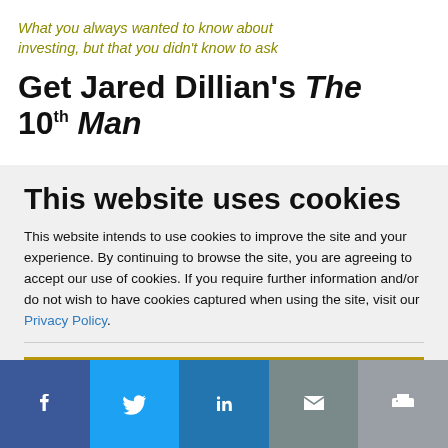What you always wanted to know about investing, but that you didn't know to ask
Get Jared Dillian's The 10th Man
This website uses cookies
This website intends to use cookies to improve the site and your experience. By continuing to browse the site, you are agreeing to accept our use of cookies. If you require further information and/or do not wish to have cookies captured when using the site, visit our Privacy Policy.
ACCEPT COOKIES